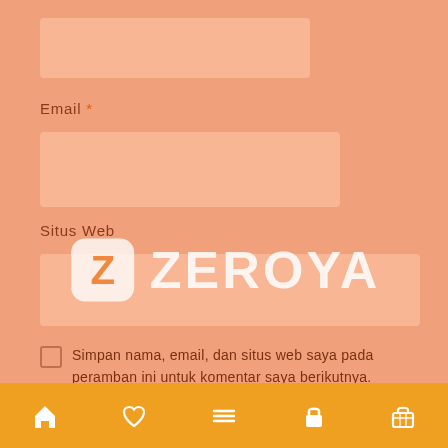[Figure (screenshot): Mobile web form screenshot showing Email field label with asterisk, input boxes for Email and Situs Web, a checkbox with text 'Simpan nama, email, dan situs web saya pada peramban ini untuk komentar saya berikutnya.', a Kirim Komentar button, a Promo Hari Ini section header, a ZEROYA watermark logo overlay, and a bottom navigation bar with home, heart, menu, lock, and cart icons on orange background.]
Email *
Situs Web
Simpan nama, email, dan situs web saya pada peramban ini untuk komentar saya berikutnya.
Kirim Komentar
Promo Hari Ini
Bottom navigation bar with home, heart, menu, lock, cart icons